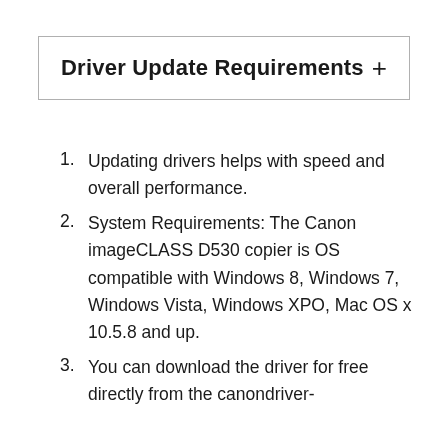Driver Update Requirements  +
Updating drivers helps with speed and overall performance.
System Requirements: The Canon imageCLASS D530 copier is OS compatible with Windows 8, Windows 7, Windows Vista, Windows XPO, Mac OS x 10.5.8 and up.
You can download the driver for free directly from the canondriver-